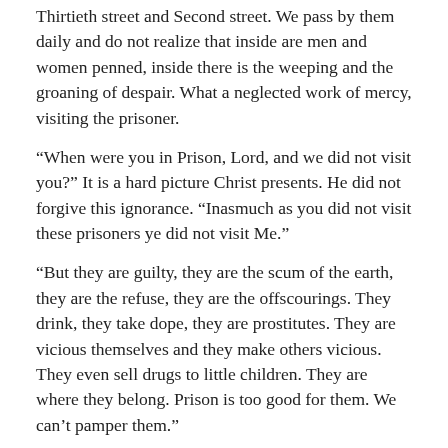Thirtieth street and Second street. We pass by them daily and do not realize that inside are men and women penned, inside there is the weeping and the groaning of despair. What a neglected work of mercy, visiting the prisoner.
“When were you in Prison, Lord, and we did not visit you?” It is a hard picture Christ presents. He did not forgive this ignorance. “Inasmuch as you did not visit these prisoners ye did not visit Me.”
“But they are guilty, they are the scum of the earth, they are the refuse, they are the offscourings. They drink, they take dope, they are prostitutes. They are vicious themselves and they make others vicious. They even sell drugs to little children. They are where they belong. Prison is too good for them. We can’t pamper them.”
“I have come to call them to repentance. I have come to be with publicans and sinners. I have come for the lost sheep. I am more there with these most miserable ones than with the judges who condemned them.”